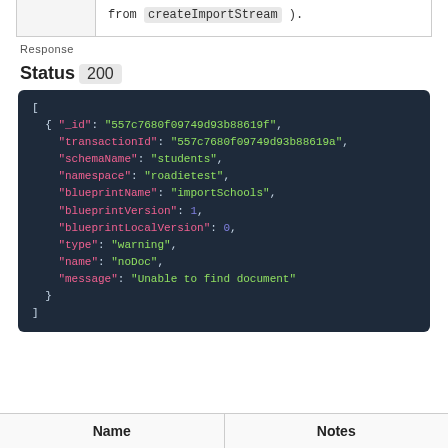|  |  |
| --- | --- |
|  | from createImportStream ). |
Response
Status 200
[
  { "_id": "557c7680f09749d93b88619f",
    "transactionId": "557c7680f09749d93b88619a",
    "schemaName": "students",
    "namespace": "roadietest",
    "blueprintName": "importSchools",
    "blueprintVersion": 1,
    "blueprintLocalVersion": 0,
    "type": "warning",
    "name": "noDoc",
    "message": "Unable to find document"
  }
]
| Name | Notes |
| --- | --- |